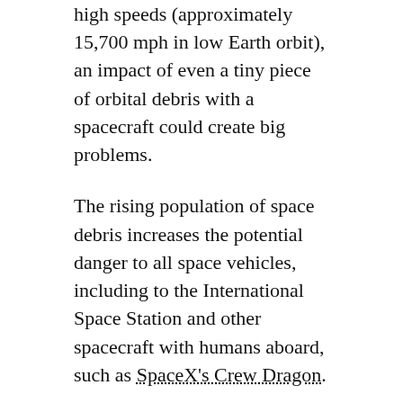high speeds (approximately 15,700 mph in low Earth orbit), an impact of even a tiny piece of orbital debris with a spacecraft could create big problems.
The rising population of space debris increases the potential danger to all space vehicles, including to the International Space Station and other spacecraft with humans aboard, such as SpaceX's Crew Dragon.
NASA takes the threat of collisions with space debris seriously and has a long-standing set of guidelines on how to deal with each potential collision threat to the space station. These guidelines, part of a larger body of decision-making aids known as flight rules, specify when the expected proximity of a piece of debris increases the probability of a collision enough that evasive action or other precautions to ensure